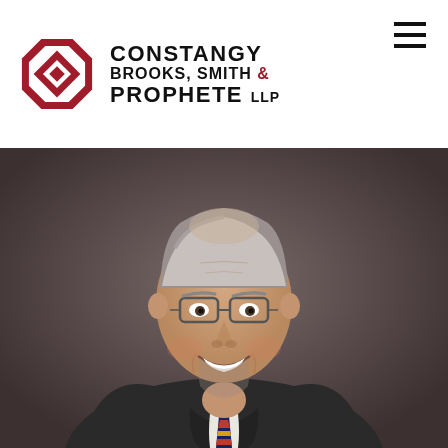[Figure (logo): Constangy Brooks, Smith & Prophete LLP logo — red octagonal geometric diamond shape on left, firm name in bold black uppercase letters on right]
[Figure (photo): Professional headshot of a smiling middle-aged man with short grey hair, glasses, wearing a dark grey suit with a striped tie (navy, red, gold), against a warm grey-brown background]